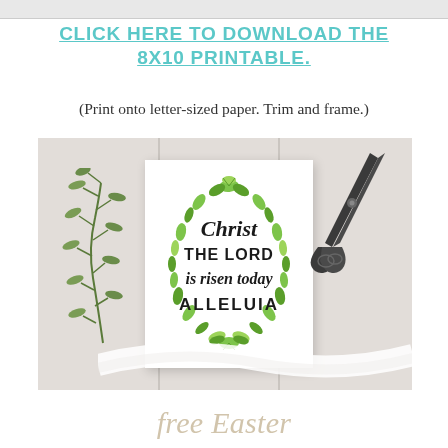CLICK HERE TO DOWNLOAD THE 8X10 PRINTABLE.
(Print onto letter-sized paper. Trim and frame.)
[Figure (photo): Photo of a white card with an oval green leaf wreath design containing the text 'Christ THE LORD is risen today ALLELUIA', placed on white wood planks with an olive branch on the left and scissors on the right, with a white ribbon in the foreground.]
free Easter